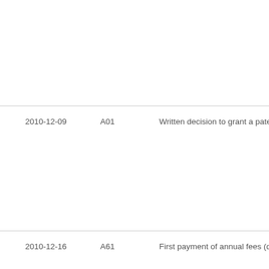| Date | Code | Description |
| --- | --- | --- |
| 2010-12-09 | A01 | Written decision to grant a patent or to grant |
| 2010-12-16 | A61 | First payment of annual fees (during grant pr |
| 2010-12-17 | FPAY | Renewal fee payment (event date is renewal |